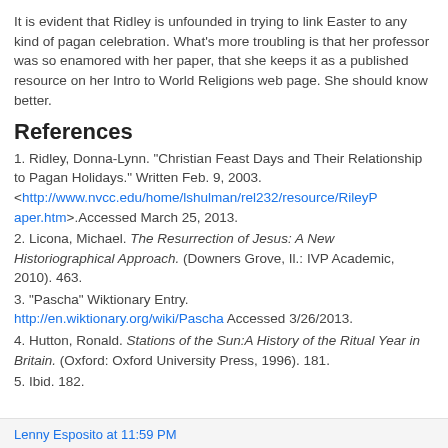It is evident that Ridley is unfounded in trying to link Easter to any kind of pagan celebration. What's more troubling is that her professor was so enamored with her paper, that she keeps it as a published resource on her Intro to World Religions web page. She should know better.
References
1. Ridley, Donna-Lynn. "Christian Feast Days and Their Relationship to Pagan Holidays." Written Feb. 9, 2003. <http://www.nvcc.edu/home/lshulman/rel232/resource/RileyPaper.htm>.Accessed March 25, 2013.
2. Licona, Michael. The Resurrection of Jesus: A New Historiographical Approach. (Downers Grove, Il.: IVP Academic, 2010). 463.
3. "Pascha" Wiktionary Entry. http://en.wiktionary.org/wiki/Pascha Accessed 3/26/2013.
4. Hutton, Ronald. Stations of the Sun:A History of the Ritual Year in Britain. (Oxford: Oxford University Press, 1996). 181.
5. Ibid. 182.
Lenny Esposito at 11:59 PM